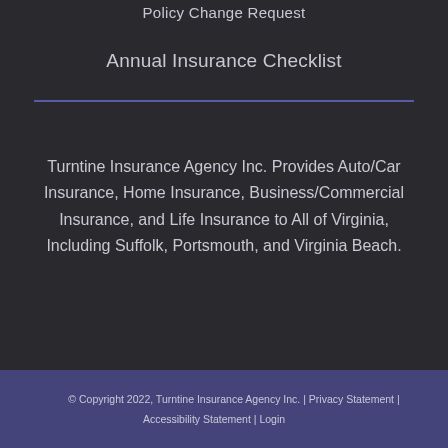Policy Change Request
Annual Insurance Checklist
Turntine Insurance Agency Inc. Provides Auto/Car Insurance, Home Insurance, Business/Commercial Insurance, and Life Insurance to All of Virginia, Including Suffolk, Portsmouth, and Virginia Beach.
© Copyright 2022, Turntine Insurance Agency Inc. | Privacy Statement | Accessibility Statement | Login